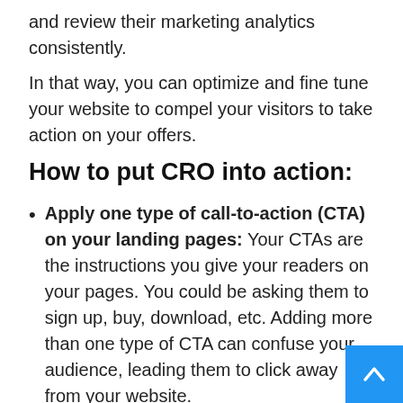and review their marketing analytics consistently.
In that way, you can optimize and fine tune your website to compel your visitors to take action on your offers.
How to put CRO into action:
Apply one type of call-to-action (CTA) on your landing pages: Your CTAs are the instructions you give your readers on your pages. You could be asking them to sign up, buy, download, etc. Adding more than one type of CTA can confuse your audience, leading them to click away from your website.
Conduct split tests: Whether you're using the best blogging platform or a free landing page, run split tests to optimize your pages for